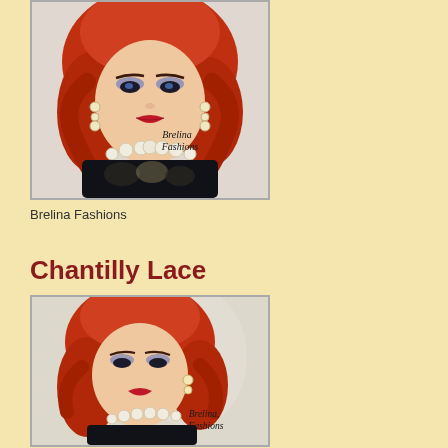[Figure (photo): Close-up photo of a red-haired fashion doll wearing a black lace top and pearl necklace and earrings, with 'Brelina Fashions' watermark in italic script]
Brelina Fashions
Chantilly Lace
[Figure (photo): Photo of same red-haired fashion doll wearing a black lace outfit with pearl jewelry, with 'Brelina Fashions' watermark visible, against a light floral background]